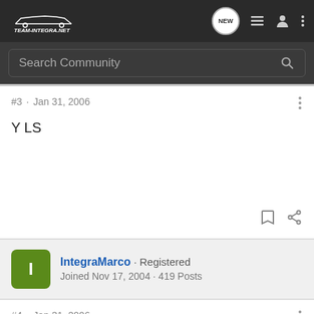Team-Integra.net navigation bar with search
#3 · Jan 31, 2006
Y LS
IntegraMarco · Registered
Joined Nov 17, 2004 · 419 Posts
#4 · Jan 31, 2006